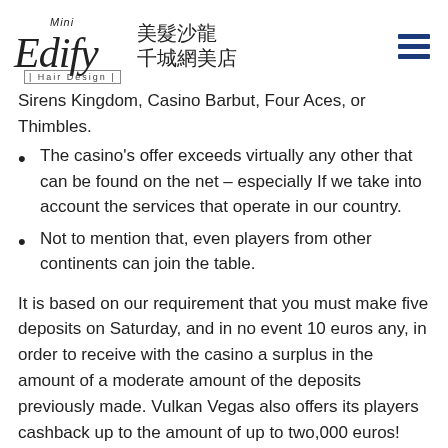Mini Edify Hair Design 美髮沙龍 千城網美店
Sirens Kingdom, Casino Barbut, Four Aces, or Thimbles.
The casino's offer exceeds virtually any other that can be found on the net – especially If we take into account the services that operate in our country.
Not to mention that, even players from other continents can join the table.
It is based on our requirement that you must make five deposits on Saturday, and in no event 10 euros any, in order to receive with the casino a surplus in the amount of a moderate amount of the deposits previously made. Vulkan Vegas also offers its players cashback up to the amount of up to two,000 euros! However, this does not seem to be a no deposit casino, as in order to be entertained for money, it is essential to have a minimum deposit on the profile. As already mentioned, the Vulkan Vegas...